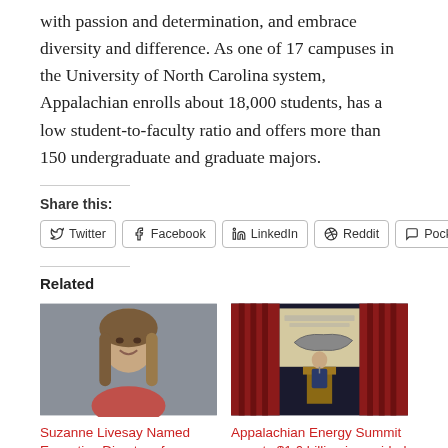with passion and determination, and embrace diversity and difference. As one of 17 campuses in the University of North Carolina system, Appalachian enrolls about 18,000 students, has a low student-to-faculty ratio and offers more than 150 undergraduate and graduate majors.
Share this:
Twitter
Facebook
LinkedIn
Reddit
Pocket
Related
[Figure (photo): Headshot of a woman with long brown and blonde hair, smiling, against a grey background.]
Suzanne Livesay Named Executive Director of
[Figure (photo): A man in a suit speaking at a podium on a stage with red curtains and a projection screen showing a map of North Carolina.]
Appalachian Energy Summit reports $1.6 billion in avoided